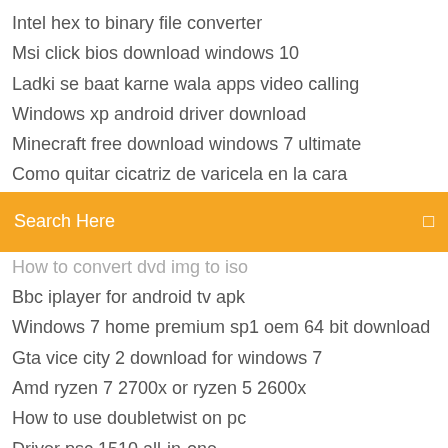Intel hex to binary file converter
Msi click bios download windows 10
Ladki se baat karne wala apps video calling
Windows xp android driver download
Minecraft free download windows 7 ultimate
Como quitar cicatriz de varicela en la cara
Search Here
How to convert dvd img to iso
Bbc iplayer for android tv apk
Windows 7 home premium sp1 oem 64 bit download
Gta vice city 2 download for windows 7
Amd ryzen 7 2700x or ryzen 5 2600x
How to use doubletwist on pc
Driver psc 1510 all-in-one
Kindle fire hd 6 user guide
What is the best home police scanner
Intel pro 2200 wireless (802.11 b g) driver download
Just cause 3 cheat codes pc